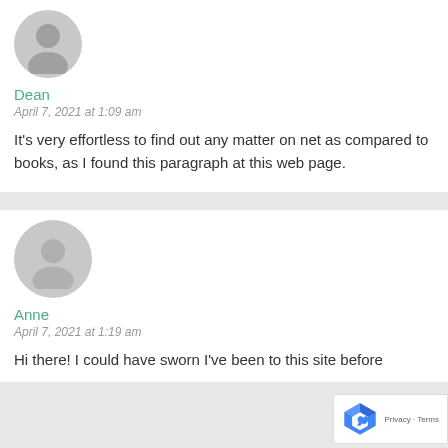[Figure (illustration): Gray circular avatar placeholder for user Dean]
Dean
April 7, 2021 at 1:09 am
It's very effortless to find out any matter on net as compared to books, as I found this paragraph at this web page.
[Figure (illustration): Gray circular avatar placeholder for user Anne]
Anne
April 7, 2021 at 1:19 am
Hi there! I could have sworn I've been to this site before